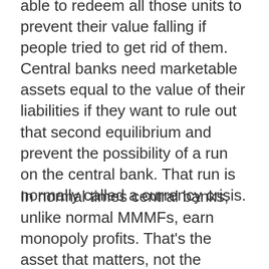able to redeem all those units to prevent their value falling if people tried to get rid of them. Central banks need marketable assets equal to the value of their liabilities if they want to rule out that second equilibrium and prevent the possibility of a run on the central bank. That run is normally called a currency crisis.
In normal times central banks, unlike normal MMMFs, earn monopoly profits. That's the asset that matters, not the assets on their balance sheets. In abnormal times it's different. In abnormal times